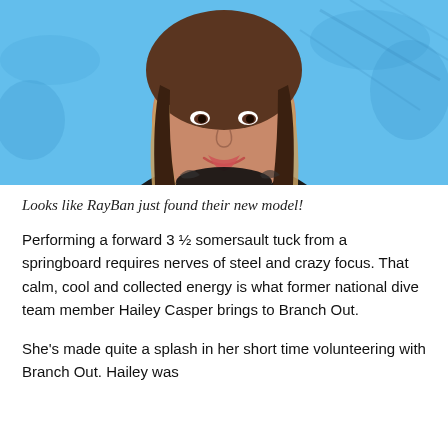[Figure (photo): Close-up photo of a young woman with long brown/blonde hair, smiling, wearing a black shiny puffer jacket, with a blue snowy background with trees visible.]
Looks like RayBan just found their new model!
Performing a forward 3 ½ somersault tuck from a springboard requires nerves of steel and crazy focus. That calm, cool and collected energy is what former national dive team member Hailey Casper brings to Branch Out.
She's made quite a splash in her short time volunteering with Branch Out. Hailey was